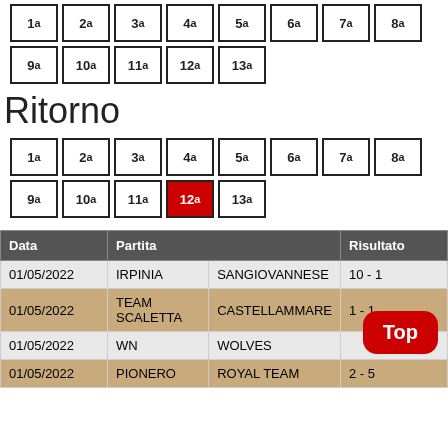| 1ª | 2ª | 3ª | 4ª | 5ª | 6ª | 7ª | 8ª |
| 9ª | 10ª | 11ª | 12ª | 13ª |  |  |  |
Ritorno
| 1ª | 2ª | 3ª | 4ª | 5ª | 6ª | 7ª | 8ª |
| 9ª | 10ª | 11ª | 12ª (highlighted red) | 13ª |  |  |  |
| Data | Partita |  | Risultato |
| --- | --- | --- | --- |
| 01/05/2022 | IRPINIA | SANGIOVANNESE | 10 - 1 |
| 01/05/2022 | TEAM SCALETTA | CASTELLAMMARE | 1 - 1 |
| 01/05/2022 | WN | WOLVES |  |
| 01/05/2022 | PIONERO | ROYAL TEAM | 2 - 5 |